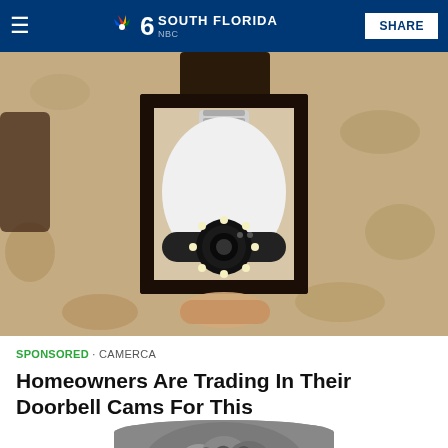NBC 6 South Florida | SHARE
[Figure (photo): A smart security camera shaped like a light bulb installed inside a black outdoor lantern wall fixture, mounted on a textured beige stucco wall.]
SPONSORED · CAMERCA
Homeowners Are Trading In Their Doorbell Cams For This
[Figure (photo): Partial top-of-head view of a person with gray/silver wavy hair, cropped at bottom of frame.]